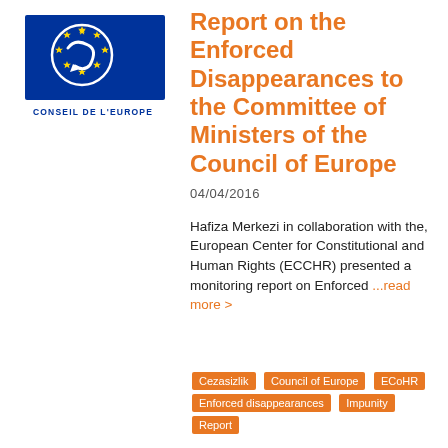[Figure (logo): Council of Europe logo with blue background, white circle with stars and arrow, text CONSEIL DE L'EUROPE below]
Report on the Enforced Disappearances to the Committee of Ministers of the Council of Europe
04/04/2016
Hafiza Merkezi in collaboration with the, European Center for Constitutional and Human Rights (ECCHR) presented a monitoring report on Enforced ...read more >
Cezasizlik
Council of Europe
ECoHR
Enforced disappearances
Impunity
Report